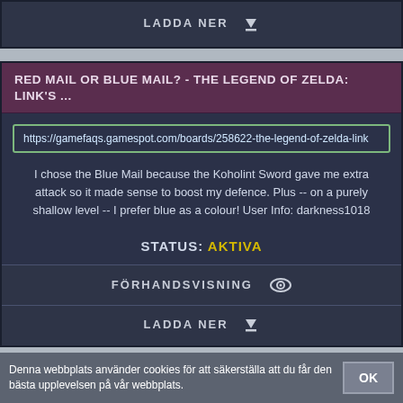LADDA NER
RED MAIL OR BLUE MAIL? - THE LEGEND OF ZELDA: LINK'S ...
https://gamefaqs.gamespot.com/boards/258622-the-legend-of-zelda-link
I chose the Blue Mail because the Koholint Sword gave me extra attack so it made sense to boost my defence. Plus -- on a purely shallow level -- I prefer blue as a colour! User Info: darkness1018
STATUS: AKTIVA
FÖRHANDSVISNING
LADDA NER
Denna webbplats använder cookies för att säkerställa att du får den bästa upplevelsen på vår webbplats.